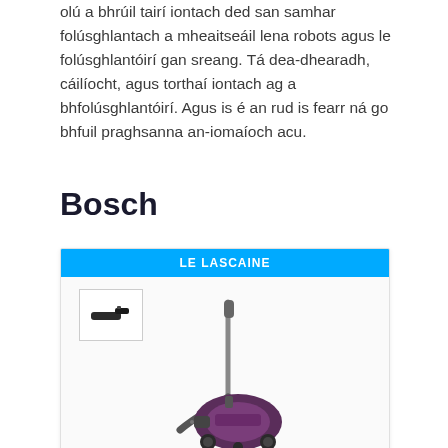olú a bhrúil tairí iontach ded san samhar folúsghlantach a mheaitseáil lena robots agus le folúsghlantóirí gan sreang. Tá dea-dhearadh, cáilíocht, agus torthaí iontach ag a bhfolúsghlantóirí. Agus is é an rud is fearr ná go bhfuil praghsanna an-iomaíoch acu.
Bosch
[Figure (photo): Product card with blue 'LE LASCAINE' discount banner at top, a small thumbnail image of a vacuum cleaner accessory in the top-left corner, and a main image of a Bosch canister vacuum cleaner (purple/dark color with hose and wand) in the center. Below the image, red text reads 'Bosch BGC05AA1 GS05']